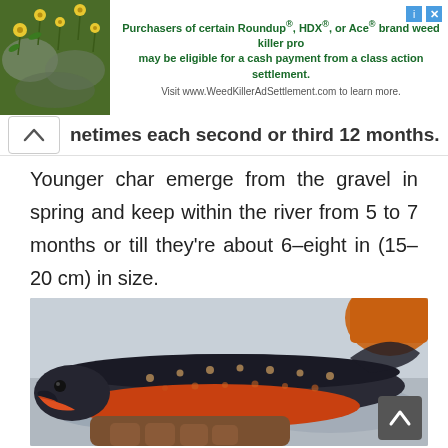[Figure (screenshot): Advertisement banner: image of yellow flowers on green background on the left; text on the right reading 'Purchasers of certain Roundup®, HDX®, or Ace® brand weed killer products may be eligible for a cash payment from a class action settlement. Visit www.WeedKillerAdSettlement.com to learn more.' with close and info icons.]
netimes each second or third 12 months.
Younger char emerge from the gravel in spring and keep within the river from 5 to 7 months or till they're about 6–eight in (15–20 cm) in size.
[Figure (photo): Close-up photograph of a char fish being held, showing dark back with orange/red spots and a bright orange-red belly, with a blurred outdoor background.]